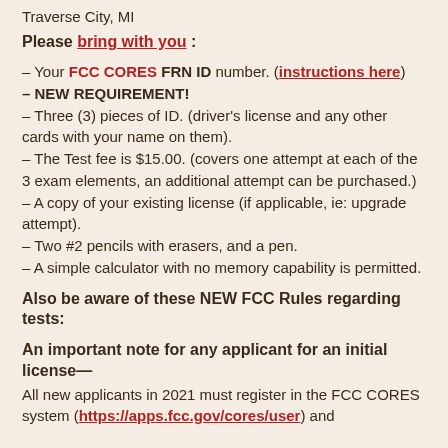Traverse City, MI
Please bring with you :
– Your FCC CORES FRN ID number. (instructions here)
– NEW REQUIREMENT!
– Three (3) pieces of ID. (driver's license and any other cards with your name on them).
– The Test fee is $15.00. (covers one attempt at each of the 3 exam elements, an additional attempt can be purchased.)
– A copy of your existing license (if applicable, ie: upgrade attempt).
– Two #2 pencils with erasers, and a pen.
– A simple calculator with no memory capability is permitted.
Also be aware of these NEW FCC Rules regarding tests:
An important note for any applicant for an initial license—
All new applicants in 2021 must register in the FCC CORES system (https://apps.fcc.gov/cores/user) and